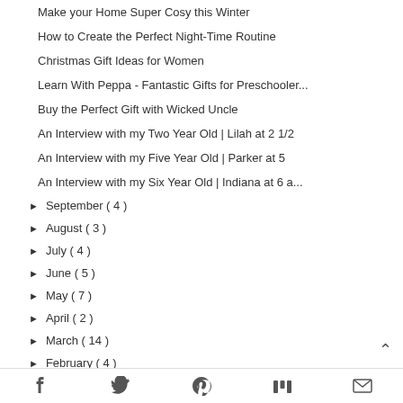Make your Home Super Cosy this Winter
How to Create the Perfect Night-Time Routine
Christmas Gift Ideas for Women
Learn With Peppa - Fantastic Gifts for Preschooler...
Buy the Perfect Gift with Wicked Uncle
An Interview with my Two Year Old | Lilah at 2 1/2
An Interview with my Five Year Old | Parker at 5
An Interview with my Six Year Old | Indiana at 6 a...
► September ( 4 )
► August ( 3 )
► July ( 4 )
► June ( 5 )
► May ( 7 )
► April ( 2 )
► March ( 14 )
► February ( 4 )
► January ( 6 )
Facebook Twitter Pinterest Mix Email